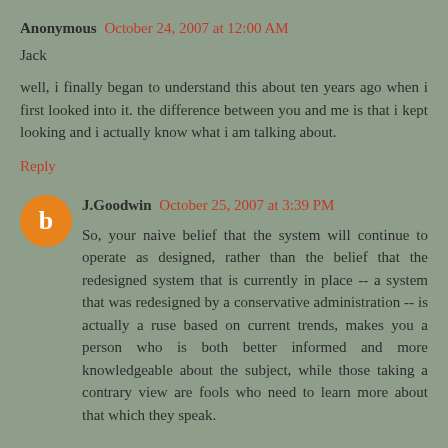Anonymous October 24, 2007 at 12:00 AM
Jack
well, i finally began to understand this about ten years ago when i first looked into it. the difference between you and me is that i kept looking and i actually know what i am talking about.
Reply
J.Goodwin October 25, 2007 at 3:39 PM
So, your naive belief that the system will continue to operate as designed, rather than the belief that the redesigned system that is currently in place -- a system that was redesigned by a conservative administration -- is actually a ruse based on current trends, makes you a person who is both better informed and more knowledgeable about the subject, while those taking a contrary view are fools who need to learn more about that which they speak.